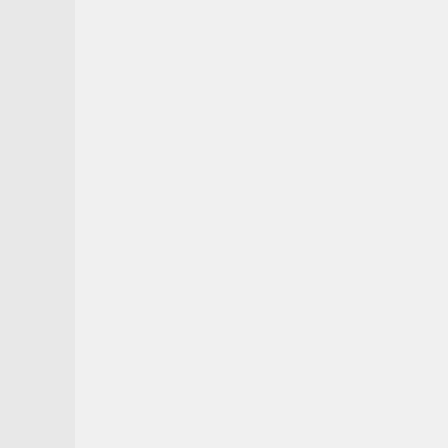noticing things like my le give me problems as if a was getting arthritis in m bought a Honda NT700V about equally. After a ye the scooter three times, a half of normal riding. W morning, I went with the much thought.
On the practical side of t hands down. More econ in the cold and rain. Hug the seat. Tires cost far le 15,000 miles. Everything the ride of choice...but it
On the physical side of t has any problems in it. I the hips anymore. It's lik therapy...but a lot more f
I don't think there's a pr But if you have only eno get a "real" motorcycle n years for when you don't
Honda's NC700X is gett The Yamaha FJ-09 is ge the BMW F800 series w